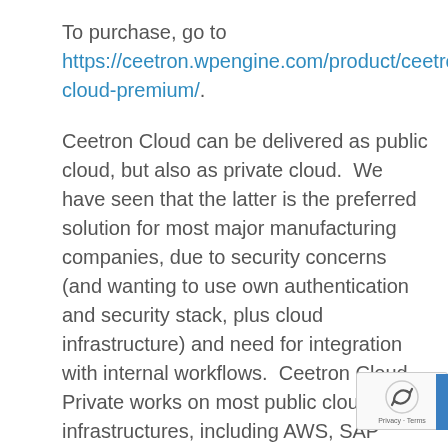To purchase, go to https://ceetron.wpengine.com/product/ceetron-cloud-premium/.
Ceetron Cloud can be delivered as public cloud, but also as private cloud.  We have seen that the latter is the preferred solution for most major manufacturing companies, due to security concerns (and wanting to use own authentication and security stack, plus cloud infrastructure) and need for integration with internal workflows.  Ceetron Cloud Private works on most public cloud infrastructures, including AWS, SAP Hana Cloud and Azure. For private cloud we recommend deployment as Docker